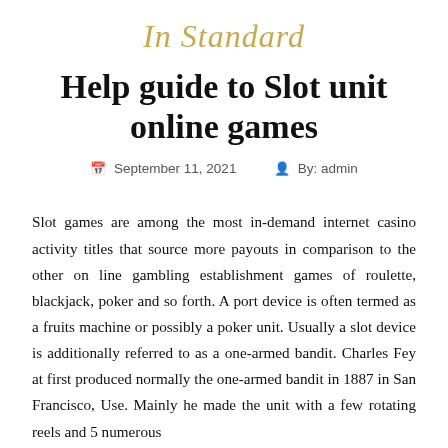In Standard
Help guide to Slot unit online games
September 11, 2021   By: admin
Slot games are among the most in-demand internet casino activity titles that source more payouts in comparison to the other on line gambling establishment games of roulette, blackjack, poker and so forth. A port device is often termed as a fruits machine or possibly a poker unit. Usually a slot device is additionally referred to as a one-armed bandit. Charles Fey at first produced normally the one-armed bandit in 1887 in San Francisco, Use. Mainly he made the unit with a few rotating reels and 5 numerous